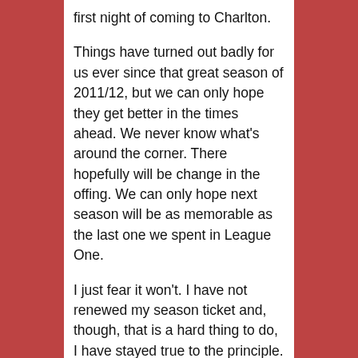first night of coming to Charlton.
Things have turned out badly for us ever since that great season of 2011/12, but we can only hope they get better in the times ahead. We never know what's around the corner. There hopefully will be change in the offing. We can only hope next season will be as memorable as the last one we spent in League One.
I just fear it won't. I have not renewed my season ticket and, though, that is a hard thing to do, I have stayed true to the principle. But as I say we never know what's around the corner. We could yet get an owner who will give us our Charlton back, the Charlton I first encountered on those walls of the Bugle Horn, and that I still encounter in the spirit of any place where Charlton fans gather during the week or at weekends.